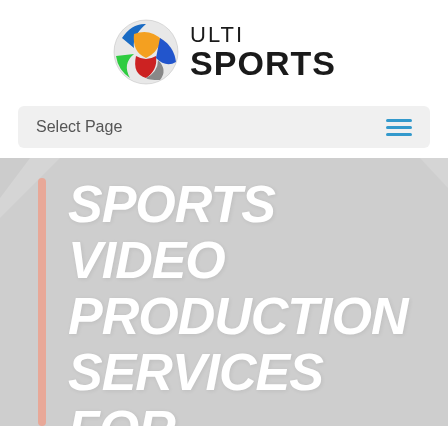[Figure (logo): Ulti Sports logo with colorful sphere icon and bold text ULTI SPORTS]
Select Page
SPORTS VIDEO PRODUCTION SERVICES FOR EVERY NEED